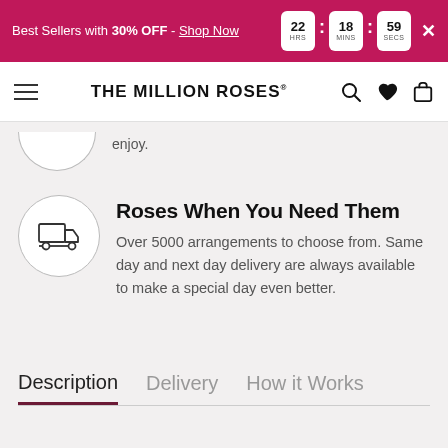Best Sellers with 30% OFF - Shop Now  22 HRS : 18 MINS : 59 SECS  ×
THE MILLION ROSES
enjoy.
Roses When You Need Them
Over 5000 arrangements to choose from. Same day and next day delivery are always available to make a special day even better.
Description   Delivery   How it Works